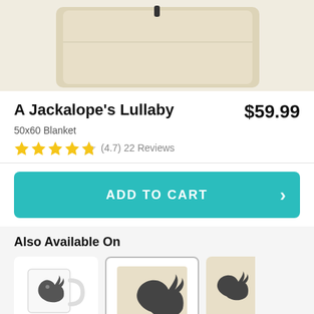[Figure (photo): Partial product image of a beige 50x60 blanket folded, with a small dark clip or tag at the top center, shown against a light background.]
A Jackalope's Lullaby
$59.99
50x60 Blanket
(4.7) 22 Reviews
ADD TO CART
Also Available On
[Figure (photo): White ceramic mug with a jackalope illustration on it]
[Figure (photo): Beige blanket with a jackalope illustration, shown in a white-framed card (selected state)]
[Figure (photo): Partial view of another beige product with jackalope illustration, cropped on the right edge]